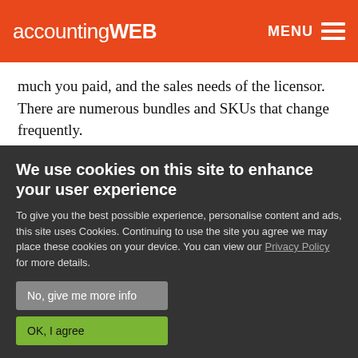accountingWEB  MENU
much you paid, and the sales needs of the licensor. There are numerous bundles and SKUs that change frequently.
Even the “experts” struggle to explain the logic underlying the pricing strategies. Every software company writes its own contracts and license
We use cookies on this site to enhance your user experience
To give you the best possible experience, personalise content and ads, this site uses Cookies. Continuing to use the site you agree we may place these cookies on your device. You can view our Privacy Policy for more details.
No, give me more info
OK, I agree